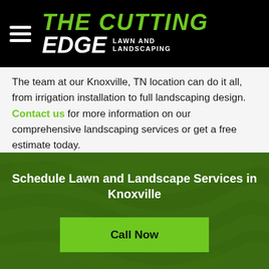THE CUTTING EDGE LAWN AND LANDSCAPING
The team at our Knoxville, TN location can do it all, from irrigation installation to full landscaping design. Contact us for more information on our comprehensive landscaping services or get a free estimate today.
Schedule Lawn and Landscape Services in Knoxville
Call Now